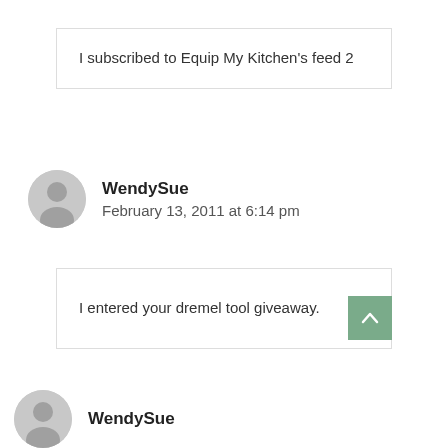I subscribed to Equip My Kitchen's feed 2
WendySue
February 13, 2011 at 6:14 pm
I entered your dremel tool giveaway.
WendySue